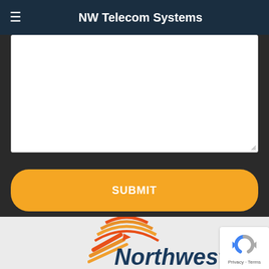NW Telecom Systems
[Figure (screenshot): White textarea input box for form submission]
SUBMIT
[Figure (logo): Northwest Telecom Systems logo with orange arc/stripes and dark blue Northwest text]
[Figure (screenshot): reCAPTCHA badge with Google logo, Privacy and Terms links]